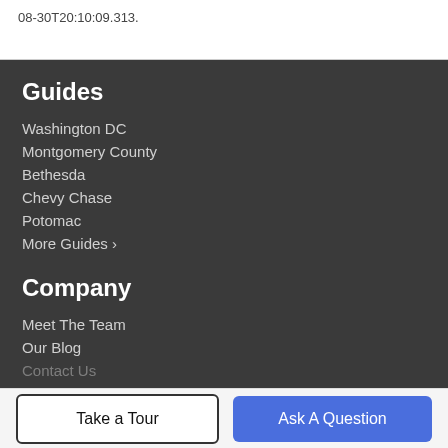08-30T20:10:09.313.
Guides
Washington DC
Montgomery County
Bethesda
Chevy Chase
Potomac
More Guides ›
Company
Meet The Team
Our Blog
Contact Us
Take a Tour
Ask A Question